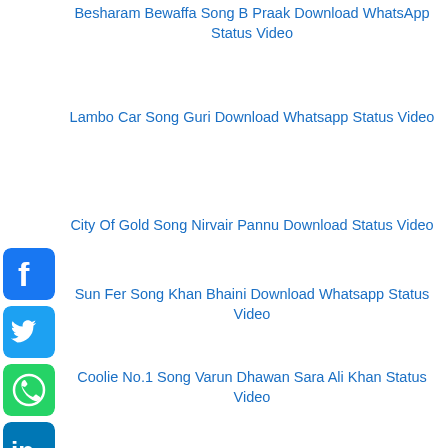Besharam Bewaffa Song B Praak Download WhatsApp Status Video
Lambo Car Song Guri Download Whatsapp Status Video
City Of Gold Song Nirvair Pannu Download Status Video
Sun Fer Song Khan Bhaini Download Whatsapp Status Video
Coolie No.1 Song Varun Dhawan Sara Ali Khan Status Video
Khabbi Seat Song Ammy Virk Download Whatsapp Status Video
Dogli Song Amit Saini Rohtakiya Download Status Video
Dil Tera Song Indoo Ki Jawani Download Whatsapp